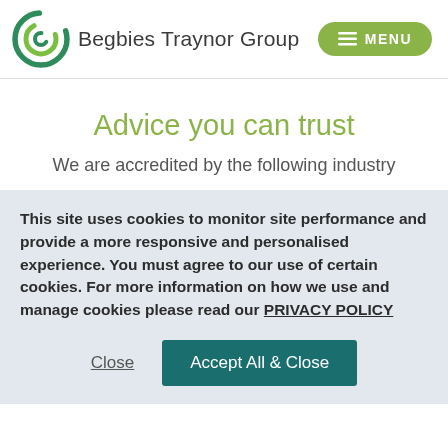[Figure (logo): Begbies Traynor Group logo with green spiral icon and company name text]
Advice you can trust
We are accredited by the following industry
This site uses cookies to monitor site performance and provide a more responsive and personalised experience. You must agree to our use of certain cookies. For more information on how we use and manage cookies please read our PRIVACY POLICY
Close
Accept All & Close